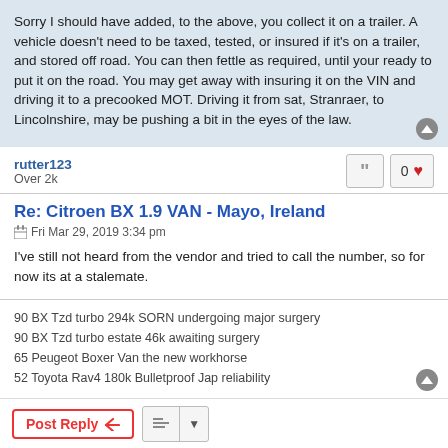Sorry I should have added, to the above, you collect it on a trailer. A vehicle doesn’t need to be taxed, tested, or insured if it’s on a trailer, and stored off road. You can then fettle as required, until your ready to put it on the road. You may get away with insuring it on the VIN and driving it to a precooked MOT. Driving it from sat, Stranraer, to Lincolnshire, may be pushing a bit in the eyes of the law.
rutter123
Over 2k
Re: Citroen BX 1.9 VAN - Mayo, Ireland
Fri Mar 29, 2019 3:34 pm
I've still not heard from the vendor and tried to call the number, so for now its at a stalemate.
90 BX Tzd turbo 294k SORN undergoing major surgery
90 BX Tzd turbo estate 46k awaiting surgery
65 Peugeot Boxer Van the new workhorse
52 Toyota Rav4 180k Bulletproof Jap reliability
Post Reply | Messages: 23 | 1 | 2